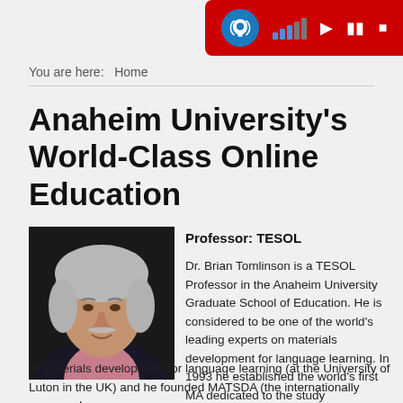[Figure (screenshot): Red toolbar with accessibility/audio controls: hearing loop icon, signal bars, play, pause, stop buttons]
You are here:   Home
Anaheim University's World-Class Online Education
[Figure (photo): Portrait photo of Dr. Brian Tomlinson, elderly man with white hair and mustache, wearing dark jacket over pink shirt, against dark background]
Professor: TESOL
Dr. Brian Tomlinson is a TESOL Professor in the Anaheim University Graduate School of Education. He is considered to be one of the world's leading experts on materials development for language learning. In 1993 he established the world's first MA dedicated to the study of materials development for language learning (at the University of Luton in the UK) and he founded MATSDA (the internationally renowned